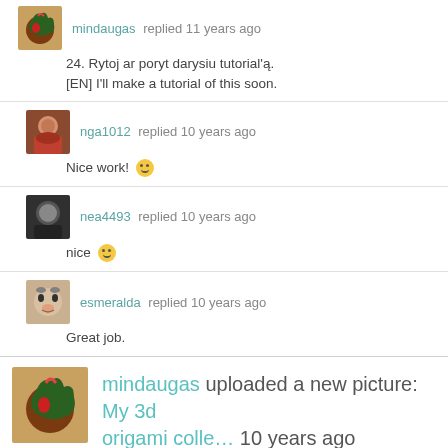mindaugas replied 11 years ago
24. Rytoj ar poryt darysiu tutorial'ą.
[EN] I'll make a tutorial of this soon.
nga1012 replied 10 years ago
Nice work! 🙂
nea4493 replied 10 years ago
nice 🙂
esmeralda replied 10 years ago
Great job.
mindaugas uploaded a new picture: My 3d origami colle… 10 years ago
[Figure (photo): Origami 3d artwork photo on teal background]